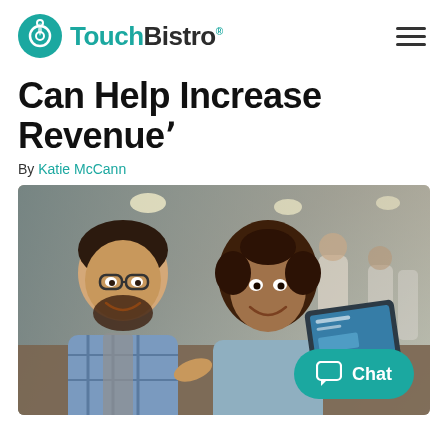TouchBistro
Can Help Increase Revenue
By Katie McCann
[Figure (photo): Two restaurant workers smiling and looking at a tablet with restaurant management software; busy restaurant in background. A teal chat button overlays the bottom right of the image.]